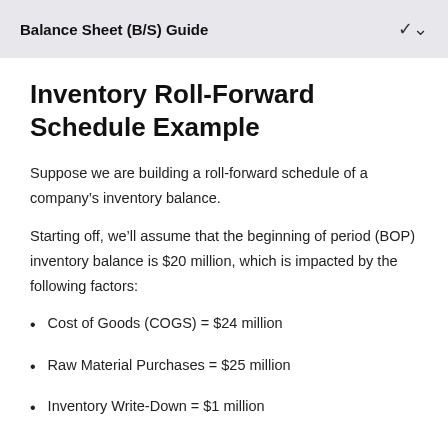Balance Sheet (B/S) Guide
Inventory Roll-Forward Schedule Example
Suppose we are building a roll-forward schedule of a company’s inventory balance.
Starting off, we’ll assume that the beginning of period (BOP) inventory balance is $20 million, which is impacted by the following factors:
Cost of Goods (COGS) = $24 million
Raw Material Purchases = $25 million
Inventory Write-Down = $1 million